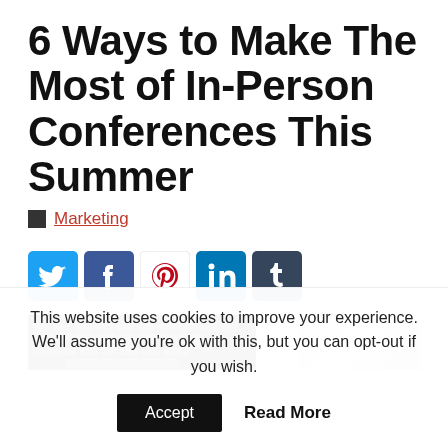6 Ways to Make The Most of In-Person Conferences This Summer
Marketing
[Figure (infographic): Social media share icons: Twitter, Facebook, Pinterest, LinkedIn, Tumblr]
[Figure (photo): Partial photo showing a keyboard and notebook on a white desk]
This website uses cookies to improve your experience. We'll assume you're ok with this, but you can opt-out if you wish.
Accept  Read More